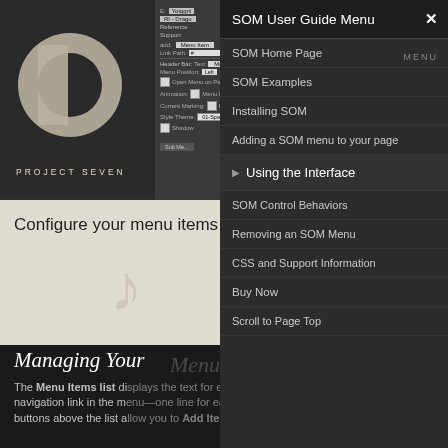[Figure (screenshot): Project Seven logo and web editor interface showing SOM menu configuration settings]
Configure your menu items and then click OK.
Managing Your Menu's Links
The Menu Items list displays the text for each navigation link in the menu—one line for each link. The buttons above the list allow you to Add Items, Add
[Figure (screenshot): SOM User Guide Menu popup overlay with navigation links: SOM Home Page, SOM Examples, Installing SOM, Adding a SOM menu to your page, Using the Interface (active/selected), SOM Control Behaviors, Removing an SOM Menu, CSS and Support Information, Buy Now, Scroll to Page Top]
SOM User Guide Menu
SOM Home Page
SOM Examples
Installing SOM
Adding a SOM menu to your page
Using the Interface
SOM Control Behaviors
Removing an SOM Menu
CSS and Support Information
Buy Now
Scroll to Page Top